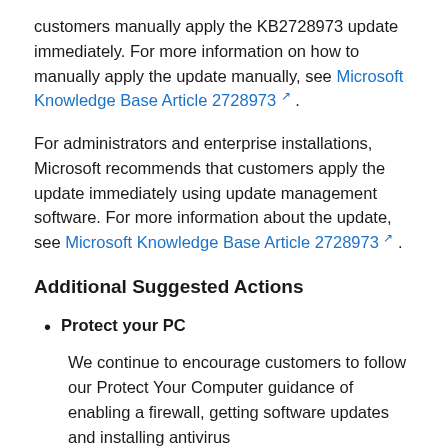customers manually apply the KB2728973 update immediately. For more information on how to manually apply the update manually, see Microsoft Knowledge Base Article 2728973 .
For administrators and enterprise installations, Microsoft recommends that customers apply the update immediately using update management software. For more information about the update, see Microsoft Knowledge Base Article 2728973 .
Additional Suggested Actions
Protect your PC
We continue to encourage customers to follow our Protect Your Computer guidance of enabling a firewall, getting software updates and installing antivirus